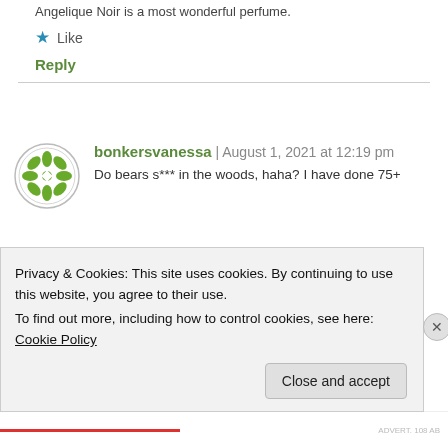Angelique Noir is a most wonderful perfume.
★ Like
Reply
bonkersvanessa | August 1, 2021 at 12:19 pm
Do bears s*** in the woods, haha? I have done 75+
Privacy & Cookies: This site uses cookies. By continuing to use this website, you agree to their use.
To find out more, including how to control cookies, see here: Cookie Policy
Close and accept